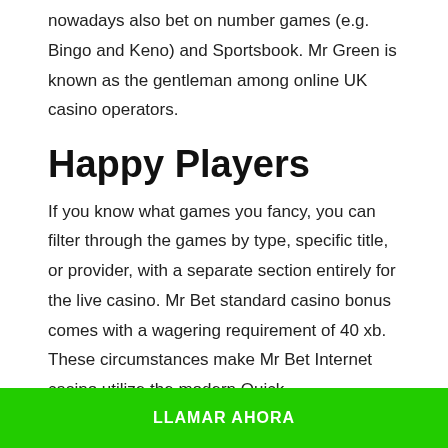nowadays also bet on number games (e.g. Bingo and Keno) and Sportsbook. Mr Green is known as the gentleman among online UK casino operators.
Happy Players
If you know what games you fancy, you can filter through the games by type, specific title, or provider, with a separate section entirely for the live casino. Mr Bet standard casino bonus comes with a wagering requirement of 40 xb. These circumstances make Mr Bet Internet casino utilize the modern Quick http://www.5si.ir/no-deposit-
LLAMAR AHORA